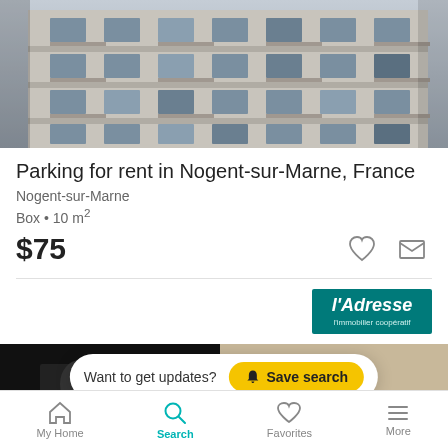[Figure (photo): Exterior facade of a modern apartment building with balconies and large windows, grey and beige tones]
Parking for rent in Nogent-sur-Marne, France
Nogent-sur-Marne
Box • 10 m²
$75
[Figure (logo): l'Adresse logo on teal/dark green background]
[Figure (photo): Partial view of another property listing with a Save search banner overlay]
Want to get updates?
Save search
My Home  Search  Favorites  More